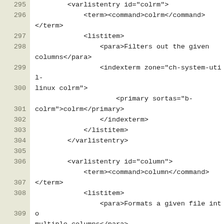295  <varlistentry id="colrm">
296      <term><command>colrm</command></term>
297          <listitem>
298              <para>Filters out the given columns</para>
299              <indexterm zone="ch-system-util-linux colrm">
300                  <primary sortas="b-colrm">colrm</primary>
301              </indexterm>
302          </listitem>
303      </varlistentry>
304
305      <varlistentry id="column">
306          <term><command>column</command></term>
307          <listitem>
308              <para>Formats a given file into multiple columns</para>
309              <indexterm zone="ch-system-util-linux column">
310                  <primary sortas="b-column">column</primary>